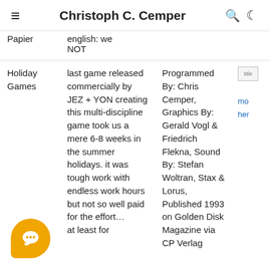Christoph C. Cemper
| Papier | english: we NOT |  |  |  |
| Holiday Games | last game released commercially by JEZ + YON creating this multi-discipline game took us a mere 6-8 weeks in the summer holidays. it was tough work with endless work hours but not so well paid for the effort… at least for | Programmed By: Chris Cemper, Graphics By: Gerald Vogl & Friedrich Flekna, Sound By: Stefan Woltran, Stax & Lorus, Published 1993 on Golden Disk Magazine via CP Verlag | [title image] | more here |